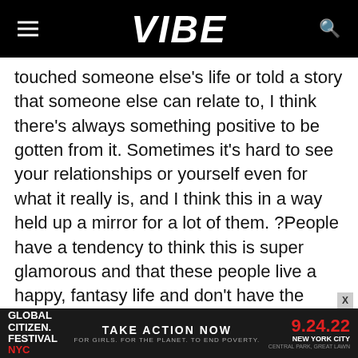VIBE
touched someone else’s life or told a story that someone else can relate to, I think there’s always something positive to be gotten from it. Sometimes it’s hard to see your relationships or yourself even for what it really is, and I think this in a way held up a mirror for a lot of them. ?People have a tendency to think this is super glamorous and that these people live a happy, fantasy life and don’t have the same issues and insecurities. Sometimes seeing how they navigate certain problems helps other women realize that if this person on my TV screen can be honest with what she has to deal with, then it gives me a little backbone to deal with what I’m
[Figure (infographic): Global Citizen Festival NYC advertisement banner: GLOBAL CITIZEN FESTIVAL NYC | TAKE ACTION NOW | FOR GIRLS. FOR THE PLANET. TO END POVERTY. | 9.24.22 NEW YORK CITY CENTRAL PARK, GREAT LAWN]